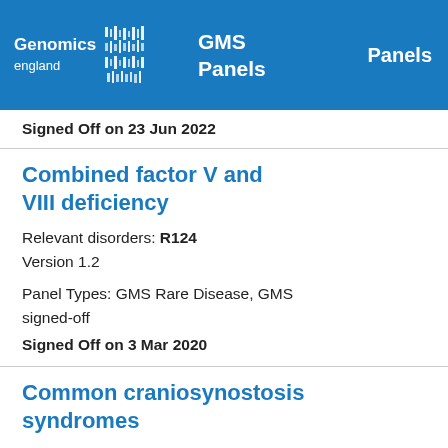Genomics England | GMS Panels | Panels
Signed Off on 23 Jun 2022
Combined factor V and VIII deficiency
Relevant disorders: R124
Version 1.2
Panel Types: GMS Rare Disease, GMS signed-off
Signed Off on 3 Mar 2020
Common craniosynostosis syndromes
Relevant disorders: R99
Version 1.2